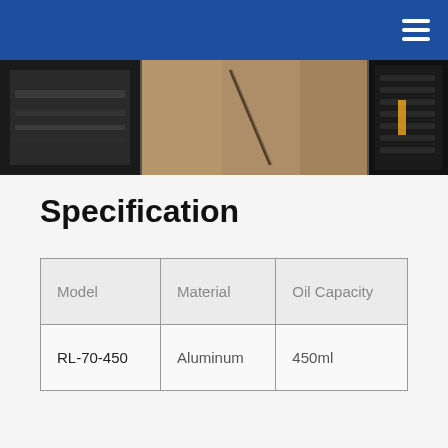[Figure (photo): Strip of three dark industrial/workshop photos showing metal surfaces, a crack or seam, and a tool against a dark background.]
Specification
| Model | Material | Oil Capacity |
| --- | --- | --- |
| RL-70-450 | Aluminum | 450ml |